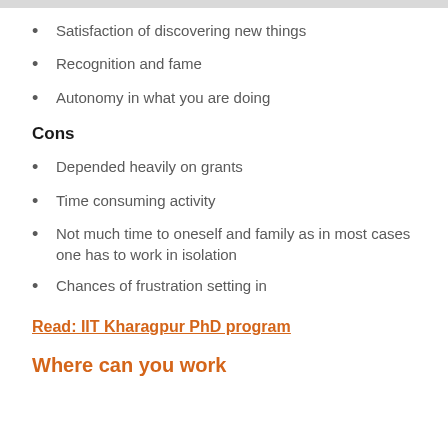Satisfaction of discovering new things
Recognition and fame
Autonomy in what you are doing
Cons
Depended heavily on grants
Time consuming activity
Not much time to oneself and family as in most cases one has to work in isolation
Chances of frustration setting in
Read: IIT Kharagpur PhD program
Where can you work